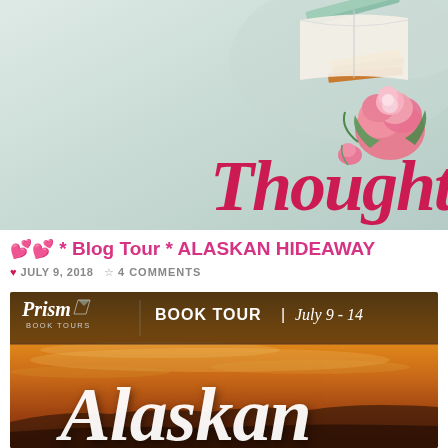[Figure (illustration): Blog header banner with mint/sage green watercolor background, books and pink floral decoration in top right corner, and cursive script reading 'Thoughts' in crimson/dark pink at bottom right]
💕 * Blog Tour * ALASKAN HIDEAWAY
♥ JULY 9, 2018  💬 4 COMMENTS
[Figure (infographic): Prism Book Tours banner for Alaskan Hideaway book tour. Dark overlay header strip shows Prism Book Tours logo on left and 'BOOK TOUR | July 9 - 14' text. Below is a golden orange sunset sky background with large white italic 'Alaskan' cursive text.]